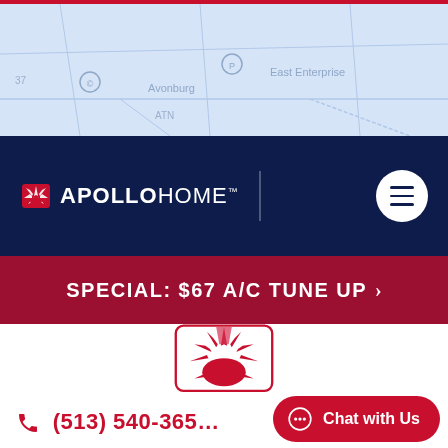[Figure (map): Light blue map background showing geographic area with labels like 'Avonburg' and 'East Enterprise']
[Figure (logo): Apollo Home navigation bar logo in white on dark navy background with hamburger menu button]
SPECIAL: $67 A/C TUNE UP >
[Figure (logo): Apollo Home large centered logo with sunburst icon in red and APOLLO HOME text in navy]
(513) 540-365…
Chat with Us